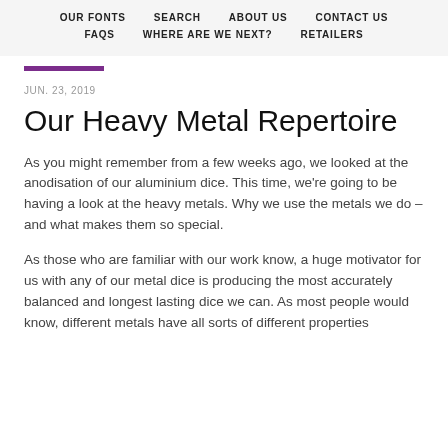OUR FONTS   SEARCH   ABOUT US   CONTACT US   FAQS   WHERE ARE WE NEXT?   RETAILERS
JUN. 23, 2019
Our Heavy Metal Repertoire
As you might remember from a few weeks ago, we looked at the anodisation of our aluminium dice. This time, we're going to be having a look at the heavy metals. Why we use the metals we do – and what makes them so special.
As those who are familiar with our work know, a huge motivator for us with any of our metal dice is producing the most accurately balanced and longest lasting dice we can. As most people would know, different metals have all sorts of different properties